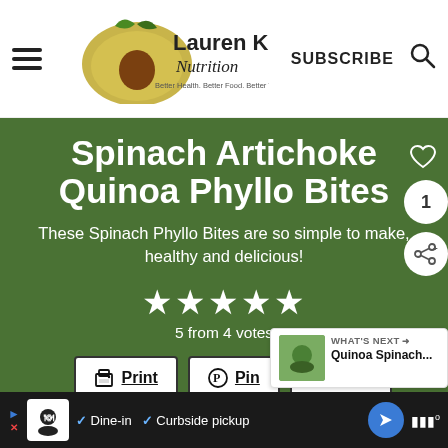Lauren Kelly Nutrition — Better Health. Better Food. Better You. — SUBSCRIBE
Spinach Artichoke Quinoa Phyllo Bites
These Spinach Phyllo Bites are so simple to make, healthy and delicious!
5 from 4 votes
Course: Appetizer, brunch, meatless, Snack, vegetarian
WHAT'S NEXT → Quinoa Spinach...
▶ ✕  [Ad icon]  ✓ Dine-in  ✓ Curbside pickup  [navigation]  |||°